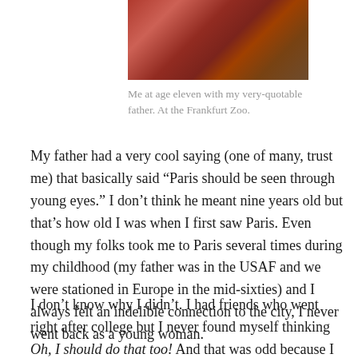[Figure (photo): Partial photo showing red boots/legs at the top of the page, cropped — appears to be a vintage childhood photo at a zoo.]
Me at age eleven with my very-quotable father. At the Frankfurt Zoo.
My father had a very cool saying (one of many, trust me) that basically said “Paris should be seen through young eyes.” I don’t think he meant nine years old but that’s how old I was when I first saw Paris. Even though my folks took me to Paris several times during my childhood (my father was in the USAF and we were stationed in Europe in the mid-sixties) and I always felt an indelible connection to the city, I never went back as a young woman.
I don’t know why I didn’t. I had friends who went right after college but I never found myself thinking Oh, I should do that too! And that was odd because I defined myself as a